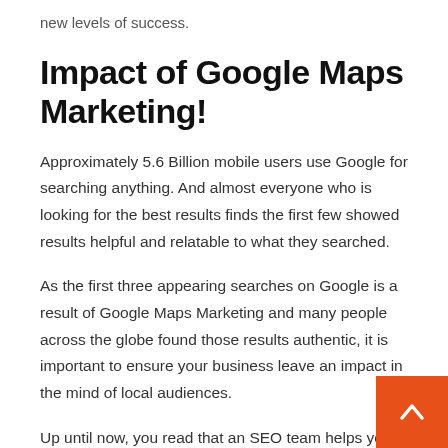new levels of success.
Impact of Google Maps Marketing!
Approximately 5.6 Billion mobile users use Google for searching anything. And almost everyone who is looking for the best results finds the first few showed results helpful and relatable to what they searched.
As the first three appearing searches on Google is a result of Google Maps Marketing and many people across the globe found those results authentic, it is important to ensure your business leave an impact in the mind of local audiences.
Up until now, you read that an SEO team helps you ensuring a spot for you in the top three local pack by